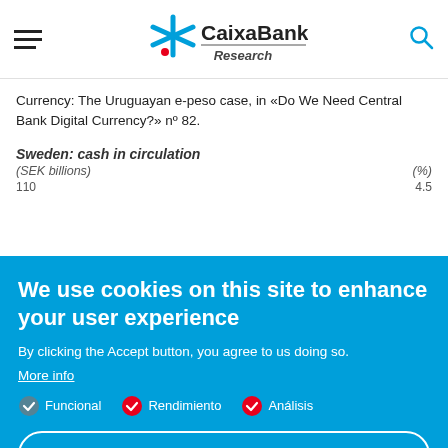CaixaBank Research
Currency: The Uruguayan e-peso case, in «Do We Need Central Bank Digital Currency?» nº 82.
Sweden: cash in circulation
(SEK billions)  (%)
110  4.5
We use cookies on this site to enhance your user experience
By clicking the Accept button, you agree to us doing so.
More info
Funcional
Rendimiento
Análisis
Accept